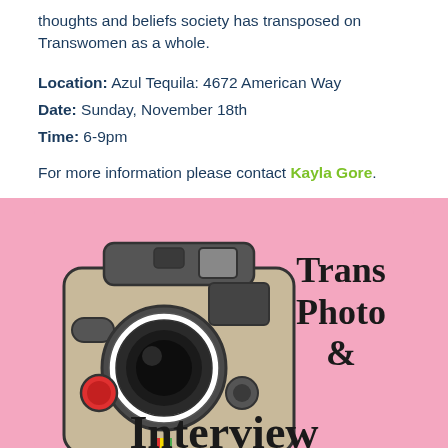thoughts and beliefs society has transposed on Transwomen as a whole.

Location: Azul Tequila: 4672 American Way
Date: Sunday, November 18th
Time: 6-9pm

For more information please contact Kayla Gore.
[Figure (illustration): Pink background with a vintage Polaroid camera illustration on the left side. To the right of the camera is bold serif text reading 'Trans Photo &' and at the bottom is the word 'Interview' in large bold serif font.]